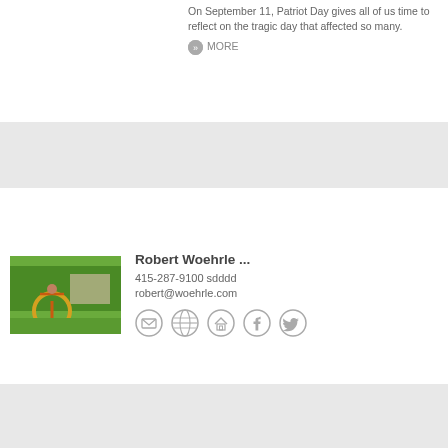On September 11, Patriot Day gives all of us time to reflect on the tragic day that affected so many.
MORE
[Figure (photo): A woman outdoors stretching with a hula hoop, trees in background]
Robert Woehrle ...
415-287-9100 sdddd
robert@woehrle.com